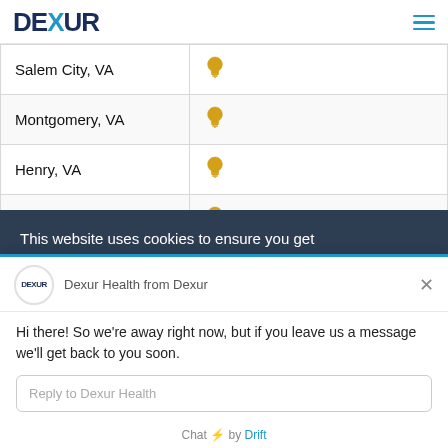DEXUR
| Salem City, VA |  |
| Montgomery, VA |  |
| Henry, VA |  |
| Martinsville City, VA |  |
This website uses cookies to ensure you get the best experience on our website. By using...
Dexur Health from Dexur
Hi there! So we're away right now, but if you leave us a message we'll get back to you soon.
Reply to Dexur Health
Chat ⚡ by Drift